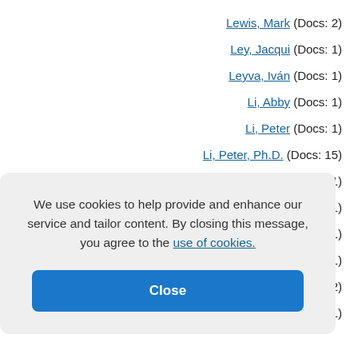Lewis, Mark (Docs: 2)
Ley, Jacqui (Docs: 1)
Leyva, Iván (Docs: 1)
Li, Abby (Docs: 1)
Li, Peter (Docs: 1)
Li, Peter, Ph.D. (Docs: 15)
Li, S. (Docs: 1)
(Docs: 1)
(Docs: 1)
s: 1)
(Docs: 2)
Liebsch, Manfred (Docs: 1)
We use cookies to help provide and enhance our service and tailor content. By closing this message, you agree to the use of cookies.